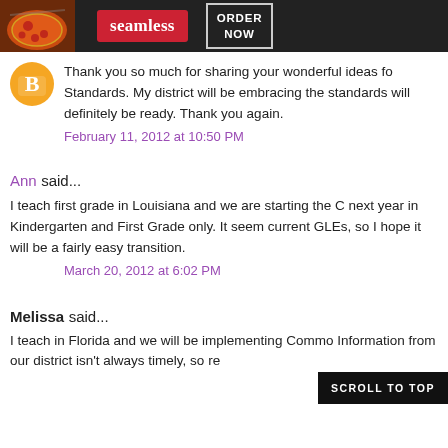[Figure (other): Seamless food delivery advertisement banner with pizza image, red Seamless logo, and ORDER NOW button on dark background]
Thank you so much for sharing your wonderful ideas fo Standards. My district will be embracing the standards will definitely be ready. Thank you again.
February 11, 2012 at 10:50 PM
Ann said...
I teach first grade in Louisiana and we are starting the C next year in Kindergarten and First Grade only. It seem current GLEs, so I hope it will be a fairly easy transition.
March 20, 2012 at 6:02 PM
Melissa said...
I teach in Florida and we will be implementing Commo Information from our district isn't always timely, so re